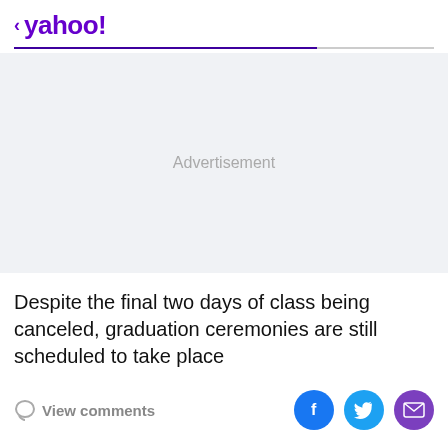< yahoo!
[Figure (other): Advertisement placeholder area with light gray background and centered 'Advertisement' text]
Despite the final two days of class being canceled, graduation ceremonies are still scheduled to take place
View comments | Facebook share | Twitter share | Email share